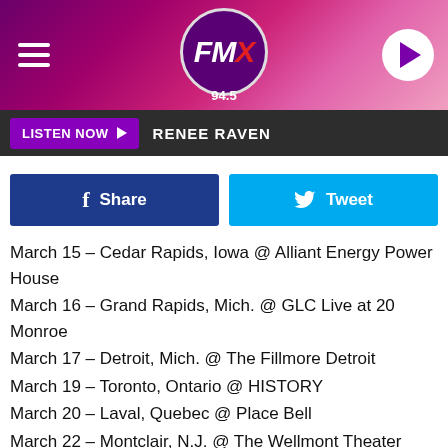FMX 94.5 radio station header with hamburger menu and play button
LISTEN NOW  RENEE RAVEN
[Figure (screenshot): Facebook Share button and Twitter Tweet button side by side]
March 15 – Cedar Rapids, Iowa @ Alliant Energy Power House
March 16 – Grand Rapids, Mich. @ GLC Live at 20 Monroe
March 17 – Detroit, Mich. @ The Fillmore Detroit
March 19 – Toronto, Ontario @ HISTORY
March 20 – Laval, Quebec @ Place Bell
March 22 – Montclair, N.J. @ The Wellmont Theater
March 23 – Washington, D.C. @ The Theater at MGM National Harbor
March 24 – Uncasville, Conn. @ Mohegan Sun Arena
March 26 – Greensboro, N.C. @ Piedmont Hall